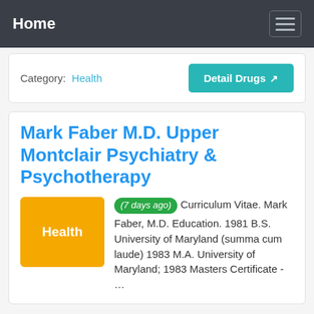Home
Category: Health
Detail Drugs
Mark Faber M.D. Upper Montclair Psychiatry & Psychotherapy
(7 days ago) Curriculum Vitae. Mark Faber, M.D. Education. 1981 B.S. University of Maryland (summa cum laude) 1983 M.A. University of Maryland; 1983 Masters Certificate - …